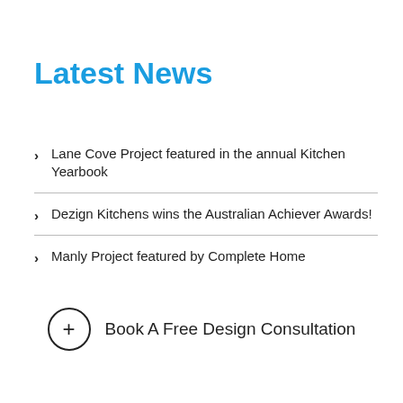Latest News
Lane Cove Project featured in the annual Kitchen Yearbook
Dezign Kitchens wins the Australian Achiever Awards!
Manly Project featured by Complete Home
+ Book A Free Design Consultation